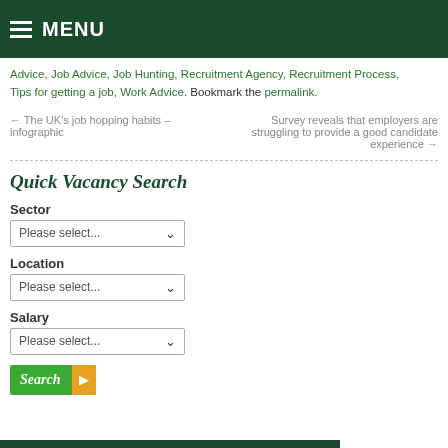MENU
Advice, Job Advice, Job Hunting, Recruitment Agency, Recruitment Process, Tips for getting a job, Work Advice. Bookmark the permalink.
← The UK's job hopping habits – infographic     Survey reveals that employers are struggling to provide a good candidate experience →
Quick Vacancy Search
Sector
Please select...
Location
Please select...
Salary
Please select...
Search